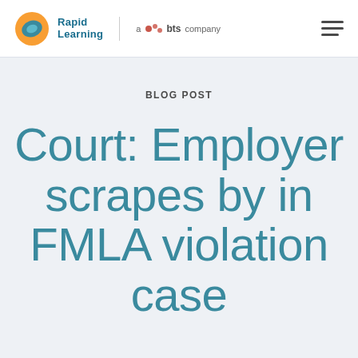Rapid Learning | a bts company
BLOG POST
Court: Employer scrapes by in FMLA violation case